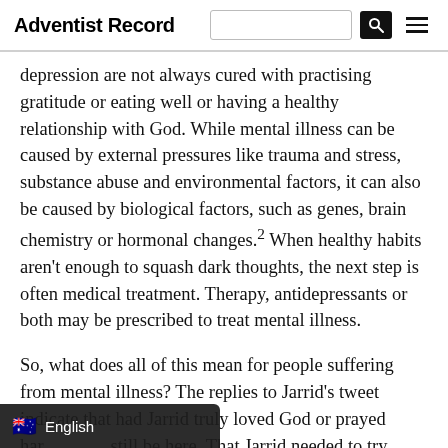Adventist Record
depression are not always cured with practising gratitude or eating well or having a healthy relationship with God. While mental illness can be caused by external pressures like trauma and stress, substance abuse and environmental factors, it can also be caused by biological factors, such as genes, brain chemistry or hormonal changes.2 When healthy habits aren't enough to squash dark thoughts, the next step is often medical treatment. Therapy, antidepressants or both may be prescribed to treat mental illness.
So, what does all of this mean for people suffering from mental illness? The replies to Jarrid's tweet indicate that had Jarrid truly loved God or prayed harder, he'd still be here. That Jarrid needed to try...